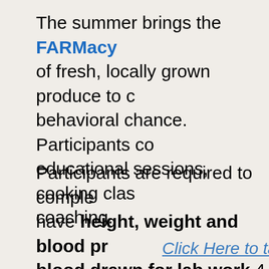The summer brings the FARMacy of fresh, locally grown produce to c... behavioral chance. Participants co... educational sessions, cooking clas... coaching.
Participants are required to comple... have height, weight and blood pr... blood drawn for lab work 4 times... well as commit to participate and a... and work at making the suggested...
Click Here to take the elig...